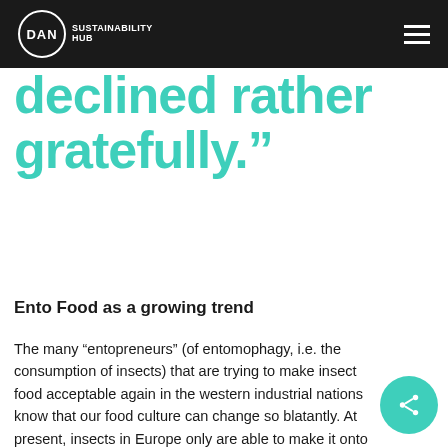DAN SUSTAINABILITY HUB — navigation header
declined rather gratefully.”
Ento Food as a growing trend
The many “entopreneurs” (of entomophagy, i.e. the consumption of insects) that are trying to make insect food acceptable again in the western industrial nations know that our food culture can change so blatantly. At present, insects in Europe only are able to make it onto the menu of gourmets as avant-garde dinners.